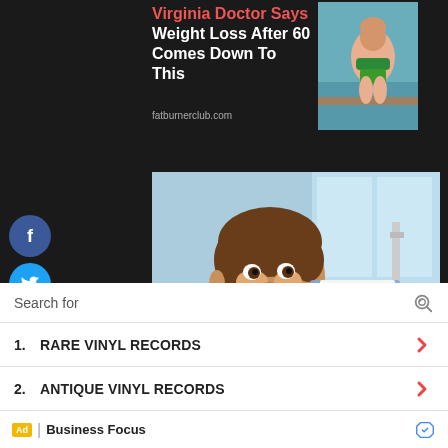Virginia Doctor Says Weight Loss After 60 Comes Down To This
fatburnerclub.com
[Figure (photo): Boy smiling in dental office, dentist holding tooth shade guide near his face]
Ashburn: See What Full Mouth Dental Implants May Cost You
Search for
1.  RARE VINYL RECORDS
2.  ANTIQUE VINYL RECORDS
Ad | Business Focus